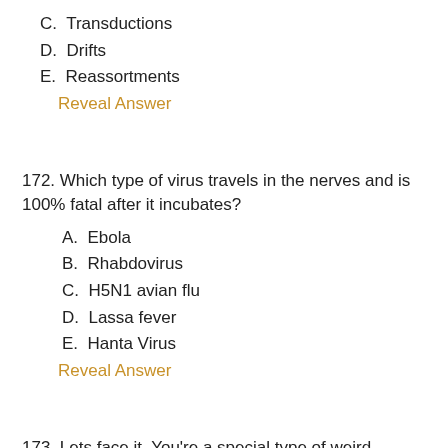C.  Transductions
D.  Drifts
E.  Reassortments
Reveal Answer
172. Which type of virus travels in the nerves and is 100% fatal after it incubates?
A.  Ebola
B.  Rhabdovirus
C.  H5N1 avian flu
D.  Lassa fever
E.  Hanta Virus
Reveal Answer
173. Lets face it. You're a special type of weird person who thinks skunks are "cool". So what happens? You get bit by one. It is not a self-fixing issue. After